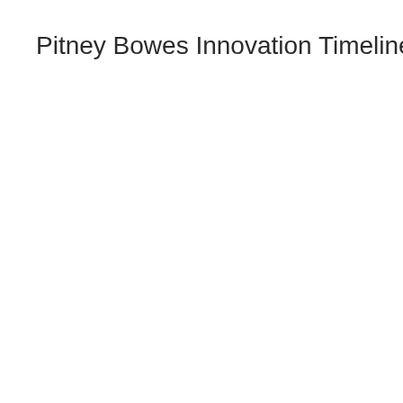Pitney Bowes Innovation Timeline